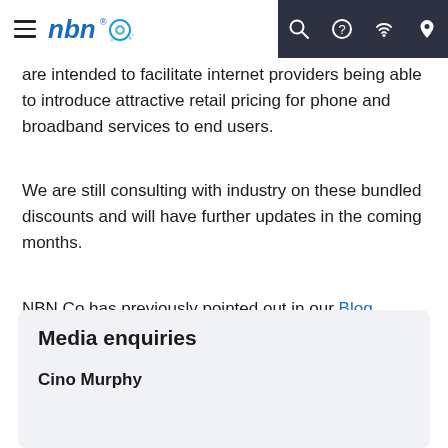nbn
are intended to facilitate internet providers being able to introduce attractive retail pricing for phone and broadband services to end users.
We are still consulting with industry on these bundled discounts and will have further updates in the coming months.
NBN Co has previously pointed out in our Blog section in more detail why we are consulting with industry on new wholesale discount offerings.
Media enquiries
Cino Murphy